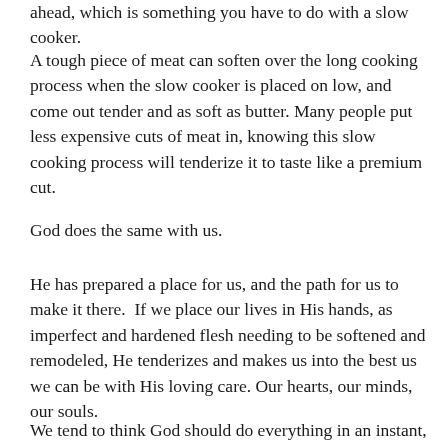ahead, which is something you have to do with a slow cooker.
A tough piece of meat can soften over the long cooking process when the slow cooker is placed on low, and come out tender and as soft as butter. Many people put less expensive cuts of meat in, knowing this slow cooking process will tenderize it to taste like a premium cut.
God does the same with us.
He has prepared a place for us, and the path for us to make it there.  If we place our lives in His hands, as imperfect and hardened flesh needing to be softened and remodeled, He tenderizes and makes us into the best us we can be with His loving care. Our hearts, our minds, our souls.
We tend to think God should do everything in an instant, but we